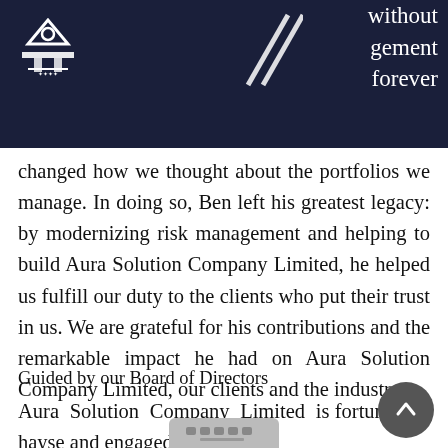without management forever
changed how we thought about the portfolios we manage. In doing so, Ben left his greatest legacy: by modernizing risk management and helping to build Aura Solution Company Limited, he helped us fulfill our duty to the clients who put their trust in us. We are grateful for his contributions and the remarkable impact he had on Aura Solution Company Limited, our clients and the industry.
Guided by our Board of Directors
Aura Solution Company Limited is fortunate to have diverse and engaged